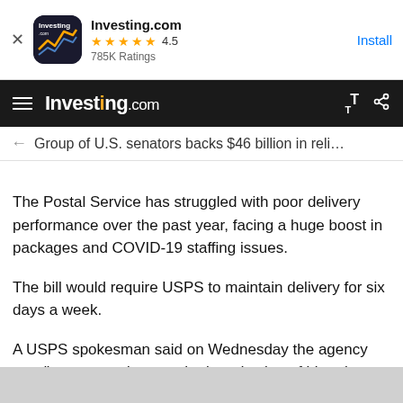[Figure (screenshot): Investing.com app install banner with icon, 4.5 star rating (785K Ratings), and Install button]
Investing.com
← Group of U.S. senators backs $46 billion in reli…
The Postal Service has struggled with poor delivery performance over the past year, facing a huge boost in packages and COVID-19 staffing issues.
The bill would require USPS to maintain delivery for six days a week.
A USPS spokesman said on Wednesday the agency was "encouraged to see the introduction of bipartisan, bicameral postal reform language." If passed, the